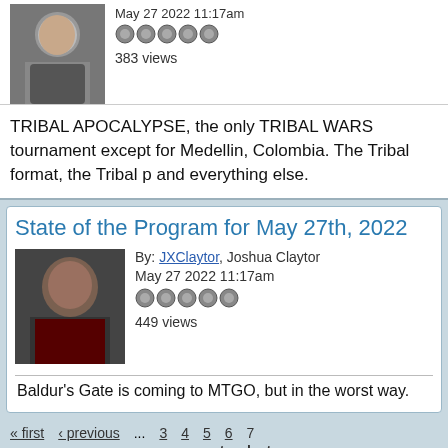May 27 2022 11:17am
383 views
TRIBAL APOCALYPSE, the only TRIBAL WARS tournament except for Medellin, Colombia. The Tribal format, the Tribal p and everything else.
State of the Program for May 27th, 2022
By: JXClaytor, Joshua Claytor
May 27 2022 11:17am
449 views
Baldur's Gate is coming to MTGO, but in the worst way.
« first  ‹ previous  ...  3  4  5  6  7  ...  next ›  last »